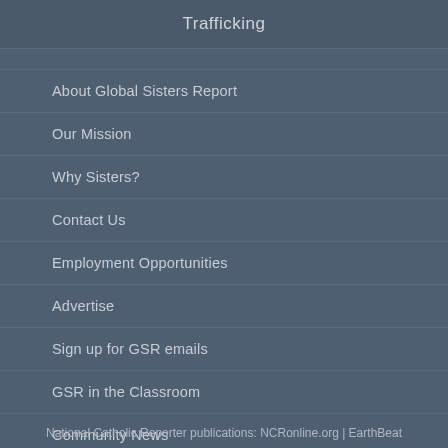Trafficking
About Global Sisters Report
Our Mission
Why Sisters?
Contact Us
Employment Opportunities
Advertise
Sign up for GSR emails
GSR in the Classroom
Community News
National Catholic Reporter publications: NCRonline.org | EarthBeat